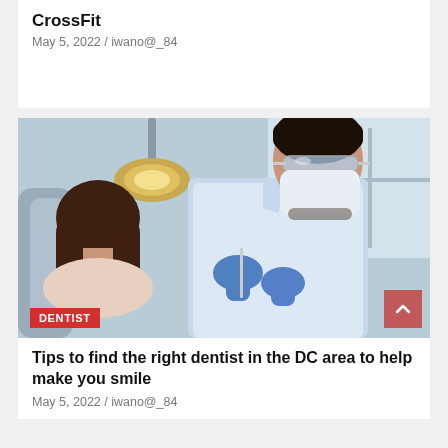CrossFit
May 5, 2022 / iwano@_84
[Figure (photo): A male dentist wearing protective glasses, face mask, and blue gloves examining a female patient seated in a dental chair. A dental light is positioned above. Clinic setting with blurred background.]
DENTIST
Tips to find the right dentist in the DC area to help make you smile
May 5, 2022 / iwano@_84